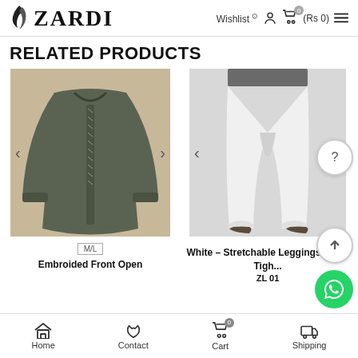ZARDI — Wishlist  0  (Rs 0)
RELATED PRODUCTS
[Figure (photo): Embroided Front Open dark olive/grey long garment on model, with left/right carousel arrows]
[Figure (photo): White Stretchable Leggings Lycra Tight ZL 01 on model, with left/right carousel arrows]
M/L
Embroided Front Open
White – Stretchable Leggings Lycra Tight ZL 01
Home   Contact   Cart   Shipping